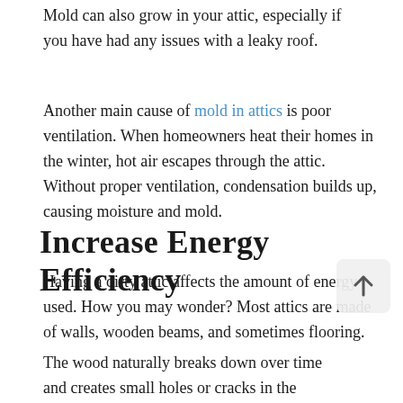Mold can also grow in your attic, especially if you have had any issues with a leaky roof.
Another main cause of mold in attics is poor ventilation. When homeowners heat their homes in the winter, hot air escapes through the attic. Without proper ventilation, condensation builds up, causing moisture and mold.
Increase Energy Efficiency
Having a dirty attic affects the amount of energy used. How you may wonder? Most attics are made of walls, wooden beams, and sometimes flooring.
The wood naturally breaks down over time and creates small holes or cracks in the surface. The air inside your home finds its way out these cracks, causing your cooling and heating systems to work